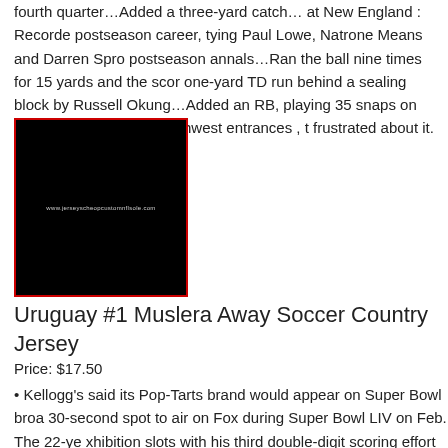fourth quarter…Added a three-yard catch… at New England : Recorded postseason career, tying Paul Lowe, Natrone Means and Darren Spro postseason annals…Ran the ball nine times for 15 yards and the scor one-yard TD run behind a sealing block by Russell Okung…Added an RB, playing 35 snaps on offense… vs. For the northwest entrances , t frustrated about it.
[Figure (photo): Black image with watermark text 'www.jerseyscheopcustomnflsole.com' and red border]
Uruguay #1 Muslera Away Soccer Country Jersey
Price: $17.50
• Kellogg's said its Pop-Tarts brand would appear on Super Bowl broa 30-second spot to air on Fox during Super Bowl LIV on Feb. The 22-ye xhibition slots with his third double-digit scoring effort in NBA Basketb